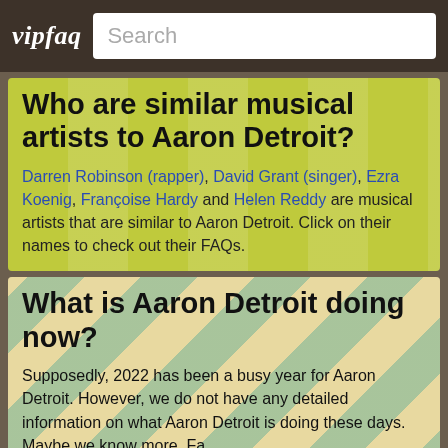vipfaq | Search
Who are similar musical artists to Aaron Detroit?
Darren Robinson (rapper), David Grant (singer), Ezra Koenig, Françoise Hardy and Helen Reddy are musical artists that are similar to Aaron Detroit. Click on their names to check out their FAQs.
What is Aaron Detroit doing now?
Supposedly, 2022 has been a busy year for Aaron Detroit. However, we do not have any detailed information on what Aaron Detroit is doing these days. Maybe we know more. Fa...